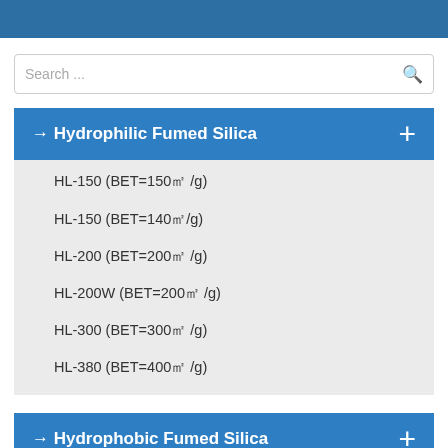Search ...
→ Hydrophilic Fumed Silica
HL-150 (BET=150㎡/g)
HL-150 (BET=140㎡/g)
HL-200 (BET=200㎡/g)
HL-200W (BET=200㎡/g)
HL-300 (BET=300㎡/g)
HL-380 (BET=400㎡/g)
→ Hydrophobic Fumed Silica